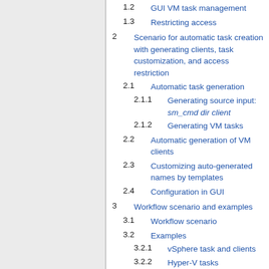1.2 GUI VM task management
1.3 Restricting access
2 Scenario for automatic task creation with generating clients, task customization, and access restriction
2.1 Automatic task generation
2.1.1 Generating source input: sm_cmd dir client
2.1.2 Generating VM tasks
2.2 Automatic generation of VM clients
2.3 Customizing auto-generated names by templates
2.4 Configuration in GUI
3 Workflow scenario and examples
3.1 Workflow scenario
3.2 Examples
3.2.1 vSphere task and clients
3.2.2 Hyper-V tasks
3.2.3 Citrix tasks
3.2.4 Proxmox VE tasks